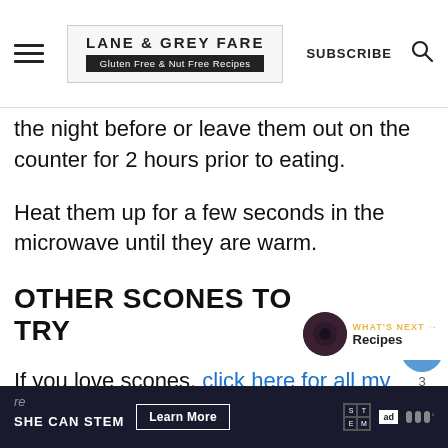LANE & GREY FARE — Gluten Free & Nut Free Recipes — SUBSCRIBE
the night before or leave them out on the counter for 2 hours prior to eating.
Heat them up for a few seconds in the microwave until they are warm.
OTHER SCONES TO TRY
If you love scones, click here for all my scone
SHE CAN STEM  Learn More